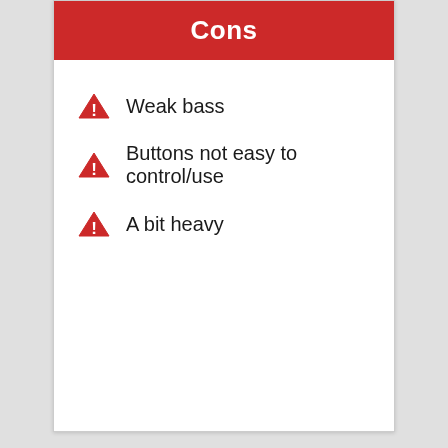Cons
Weak bass
Buttons not easy to control/use
A bit heavy